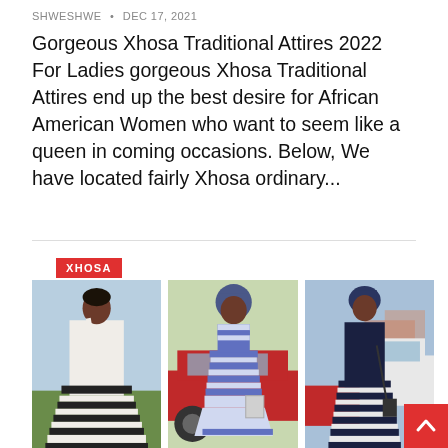SHWESHWE  •  DEC 17, 2021
Gorgeous Xhosa Traditional Attires 2022 For Ladies gorgeous Xhosa Traditional Attires end up the best desire for African American Women who want to seem like a queen in coming occasions. Below, We have located fairly Xhosa ordinary...
[Figure (photo): Three women wearing Xhosa traditional attires. Left: woman in white and black striped maxi dress standing in a field. Center: woman in blue and white striped off-shoulder outfit next to a red car. Right: woman in dark navy/black Xhosa outfit next to a white car.]
XHOSA